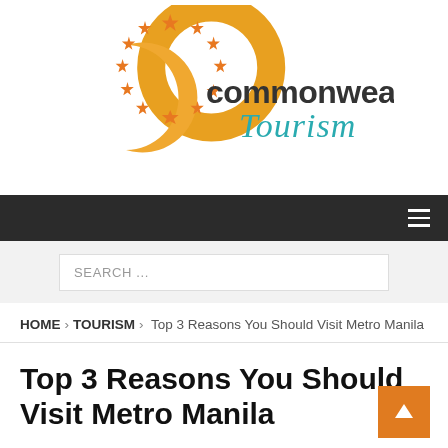[Figure (logo): Commonwealth Tourism logo with orange crescent C shape surrounded by orange stars, and text 'commonwealth Tourism' where 'Tourism' is in teal handwritten style]
Navigation bar with hamburger menu icon
SEARCH ...
HOME > TOURISM > Top 3 Reasons You Should Visit Metro Manila
Top 3 Reasons You Should Visit Metro Manila
January 15, 2018